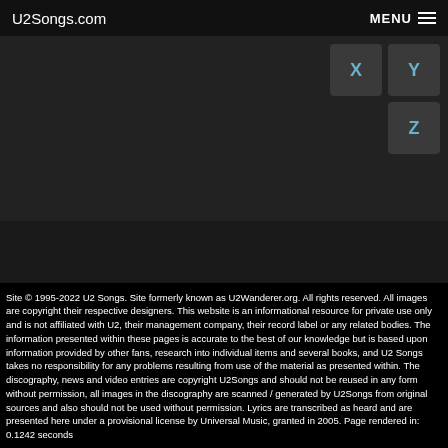U2Songs.com  MENU
[Figure (other): Navigation alphabet buttons showing X, Y, and Z letters on dark gray square buttons]
Site © 1995-2022 U2 Songs. Site formerly known as U2Wanderer.org. All rights reserved. All images are copyright their respective designers. This website is an informational resource for private use only and is not affiliated with U2, their management company, their record label or any related bodies. The information presented within these pages is accurate to the best of our knowledge but is based upon information provided by other fans, research into individual items and several books, and U2 Songs takes no responsibility for any problems resulting from use of the material as presented within. The discography, news and video entries are copyright U2Songs and should not be reused in any form without permission, all images in the discography are scanned / generated by U2Songs from original sources and also should not be used without permission. Lyrics are transcribed as heard and are presented here under a provisional license by Universal Music, granted in 2005. Page rendered in: 0.1242 seconds